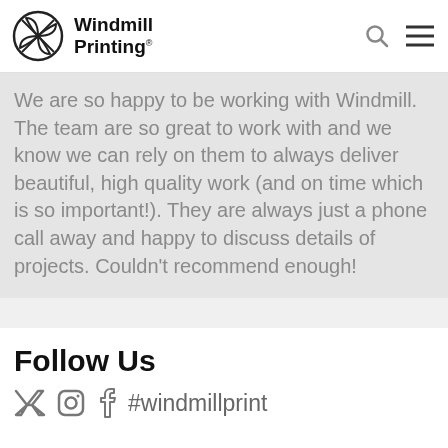Windmill Printing
We are so happy to be working with Windmill. The team are so great to work with and we know we can rely on them to always deliver beautiful, high quality work (and on time which is so important!). They are always just a phone call away and happy to discuss details of projects. Couldn't recommend enough!
Follow Us
#windmillprint